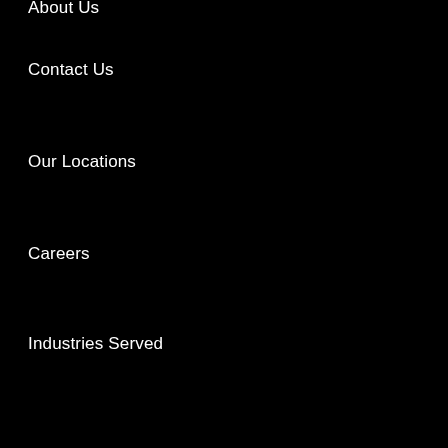About Us
Contact Us
Our Locations
Careers
Industries Served
Our Services
TrueSupport Services
Managed Services
Professional Services
Repair Services